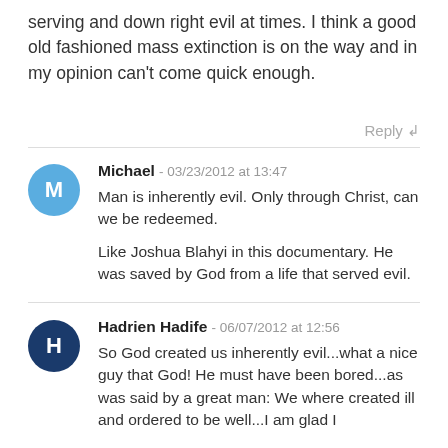serving and down right evil at times. I think a good old fashioned mass extinction is on the way and in my opinion can't come quick enough.
Reply ↲
Michael - 03/23/2012 at 13:47
Man is inherently evil. Only through Christ, can we be redeemed.

Like Joshua Blahyi in this documentary. He was saved by God from a life that served evil.
Hadrien Hadife - 06/07/2012 at 12:56
So God created us inherently evil...what a nice guy that God! He must have been bored...as was said by a great man: We where created ill and ordered to be well...I am glad I